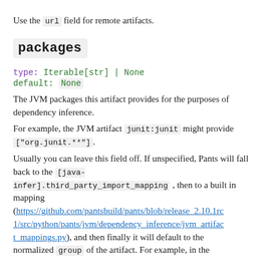Use the url field for remote artifacts.
packages
type: Iterable[str] | None
default: None
The JVM packages this artifact provides for the purposes of dependency inference.
For example, the JVM artifact junit:junit might provide ["org.junit.**"].
Usually you can leave this field off. If unspecified, Pants will fall back to the [java-infer].third_party_import_mapping , then to a built in mapping (https://github.com/pantsbuild/pants/blob/release_2.10.1rc1/src/python/pants/jvm/dependency_inference/jvm_artifact_mappings.py), and then finally it will default to the normalized group of the artifact. For example, in the